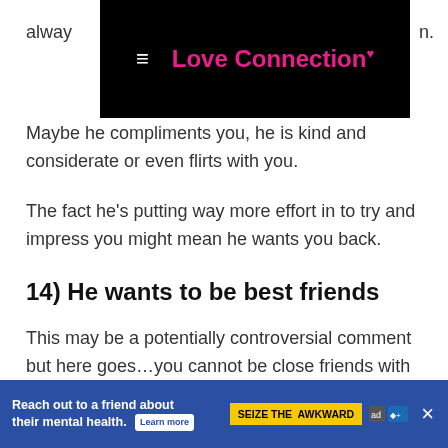Love Connection
Maybe he compliments you, he is kind and considerate or even flirts with you.
The fact he’s putting way more effort in to try and impress you might mean he wants you back.
14) He wants to be best friends
This may be a potentially controversial comment but here goes…you cannot be close friends with an ex straight after a breakup.
Of course, there’s always the odd exception, but generally,
[Figure (screenshot): Advertisement banner: 'Reach out to a friend about their mental health. Learn more' with Seize the Awkward campaign branding]